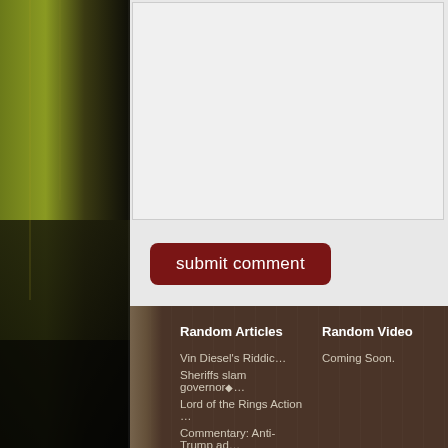[Figure (screenshot): Left decorative strip with grunge texture, yellow-green and dark tones, city/comic book imagery]
[Figure (screenshot): Empty light gray textarea/comment input box]
submit comment
Random Articles
Vin Diesel's Riddic...
Sheriffs slam governor◆...
Lord of the Rings Action ...
Commentary: Anti-Trump ad...
Real World Regret: Will J...
Random Video
Coming Soon.